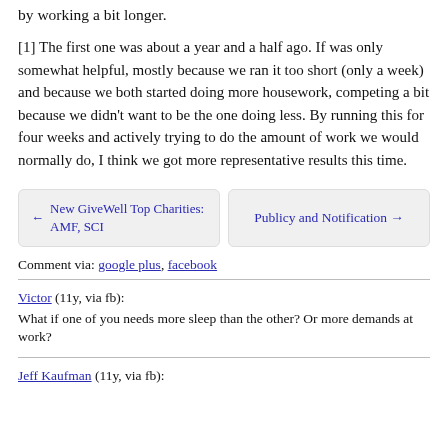by working a bit longer.
[1] The first one was about a year and a half ago. If was only somewhat helpful, mostly because we ran it too short (only a week) and because we both started doing more housework, competing a bit because we didn't want to be the one doing less. By running this for four weeks and actively trying to do the amount of work we would normally do, I think we got more representative results this time.
← New GiveWell Top Charities: AMF, SCI
Publicy and Notification →
Comment via: google plus, facebook
Victor (11y, via fb):
What if one of you needs more sleep than the other? Or more demands at work?
Jeff Kaufman (11y, via fb):